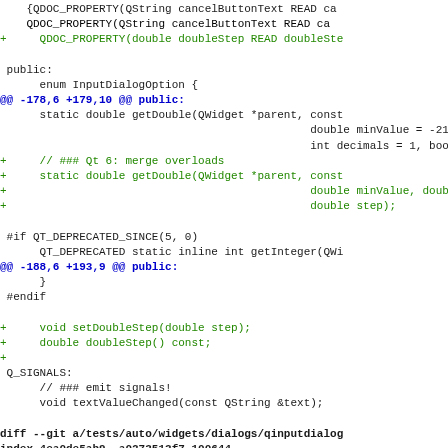Code diff showing Qt QInputDialog header changes including QDOC_PROPERTY additions, getDouble overloads, setDoubleStep/doubleStep methods, and diff header for test file.